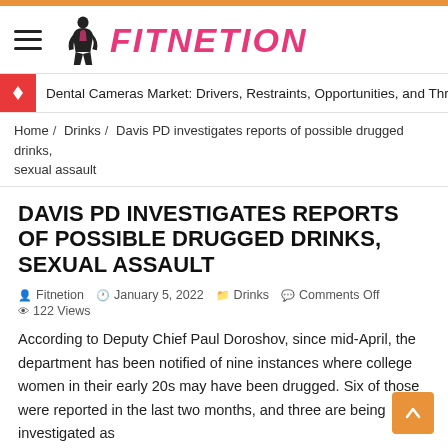FITNETION
Dental Cameras Market: Drivers, Restraints, Opportunities, and Threats (2019...
Home / Drinks / Davis PD investigates reports of possible drugged drinks, sexual assault
DAVIS PD INVESTIGATES REPORTS OF POSSIBLE DRUGGED DRINKS, SEXUAL ASSAULT
Fitnetion   January 5, 2022   Drinks   Comments Off   122 Views
According to Deputy Chief Paul Doroshov, since mid-April, the department has been notified of nine instances where college women in their early 20s may have been drugged. Six of those were reported in the last two months, and three are being investigated as